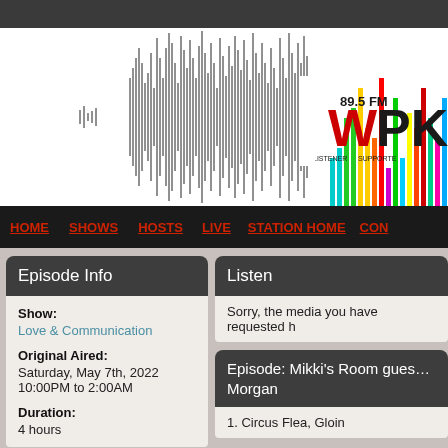[Figure (screenshot): Radio station WPKN 89.5 FM banner with sound waveform graphic and colorful bars logo. Text: 89.5 FM, W (large red), PKN, LISTENER SUPPORTED]
HOME  SHOWS  HOSTS  LIVE  STATION HOME  CON…
Episode Info
Listen
Show: Love & Communication
Original Aired: Saturday, May 7th, 2022 10:00PM to 2:00AM
Duration: 4 hours
Sorry, the media you have requested h…
Episode: Mikki's Room gues… Morgan
1. Circus Flea, Gloin